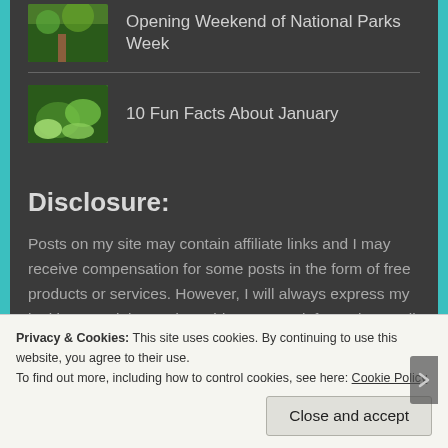Opening Weekend of National Parks Week
10 Fun Facts About January
Disclosure:
Posts on my site may contain affiliate links and I may receive compensation for some posts in the form of free products or services. However, I will always express my legitimate opinion and provide accurate information at all times. Thank you for reading! (disclosure per FTC regulations)
Privacy & Cookies: This site uses cookies. By continuing to use this website, you agree to their use.
To find out more, including how to control cookies, see here: Cookie Policy